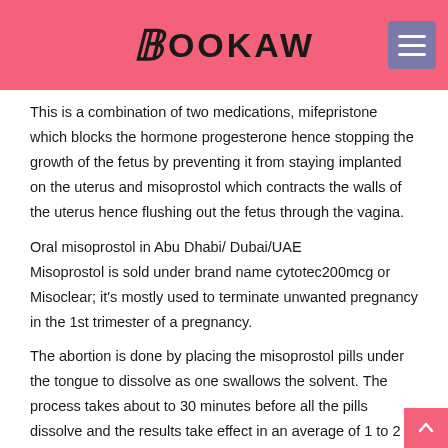BOOKAW
This is a combination of two medications, mifepristone which blocks the hormone progesterone hence stopping the growth of the fetus by preventing it from staying implanted on the uterus and misoprostol which contracts the walls of the uterus hence flushing out the fetus through the vagina.
Oral misoprostol in Abu Dhabi/ Dubai/UAE
Misoprostol is sold under brand name cytotec200mcg or Misoclear; it's mostly used to terminate unwanted pregnancy in the 1st trimester of a pregnancy.
The abortion is done by placing the misoprostol pills under the tongue to dissolve as one swallows the solvent. The process takes about to 30 minutes before all the pills dissolve and the results take effect in an average of 1 to 2 hours, although there can be a delay in some individuals the window for the result is 24 hours after orally taking misoprostol.
Vaginal and oral misoprostol